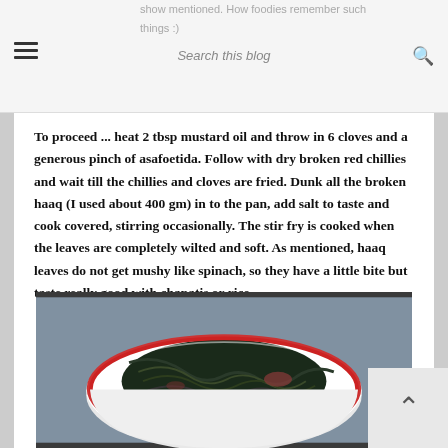show mentioned. How foodies remember such things :)  Search this blog
To proceed ... heat 2 tbsp mustard oil and throw in 6 cloves and a generous pinch of asafoetida. Follow with dry broken red chillies and wait till the chillies and cloves are fried. Dunk all the broken haaq (I used about 400 gm) in to the pan, add salt to taste and cook covered, stirring occasionally. The stir fry is cooked when the leaves are completely wilted and soft. As mentioned, haaq leaves do not get mushy like spinach, so they have a little bite but taste really good with chapatis or rice.
[Figure (photo): A bowl of cooked haaq (dark green wilted leafy vegetable stir fry) in a white bowl with red trim, photographed from above on a light blue background.]